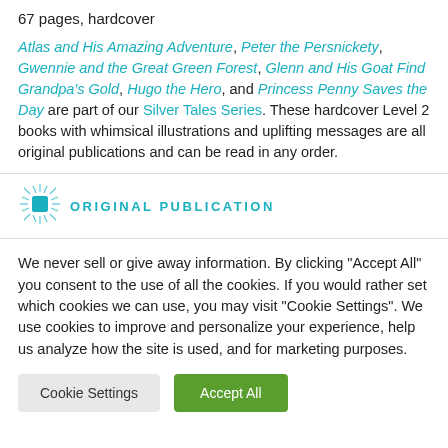67 pages, hardcover
Atlas and His Amazing Adventure, Peter the Persnickety, Gwennie and the Great Green Forest, Glenn and His Goat Find Grandpa's Gold, Hugo the Hero, and Princess Penny Saves the Day are part of our Silver Tales Series. These hardcover Level 2 books with whimsical illustrations and uplifting messages are all original publications and can be read in any order.
[Figure (logo): Original Publication badge with starburst icon and teal text reading 'ORIGINAL PUBLICATION']
We never sell or give away information. By clicking "Accept All" you consent to the use of all the cookies. If you would rather set which cookies we can use, you may visit "Cookie Settings". We use cookies to improve and personalize your experience, help us analyze how the site is used, and for marketing purposes.
Cookie Settings | Accept All